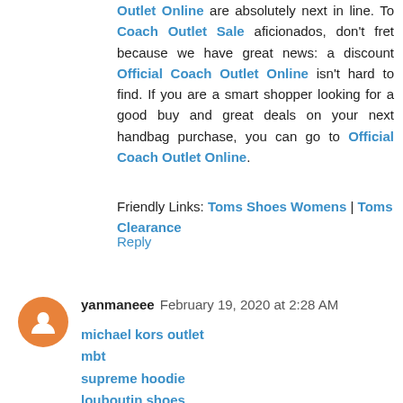Outlet Online are absolutely next in line. To Coach Outlet Sale aficionados, don't fret because we have great news: a discount Official Coach Outlet Online isn't hard to find. If you are a smart shopper looking for a good buy and great deals on your next handbag purchase, you can go to Official Coach Outlet Online.
Friendly Links: Toms Shoes Womens | Toms Clearance
Reply
yanmaneee  February 19, 2020 at 2:28 AM
michael kors outlet
mbt
supreme hoodie
louboutin shoes
christian louboutin outlet
nike shox for men
fila shoes
retro jordans
yeezy 500